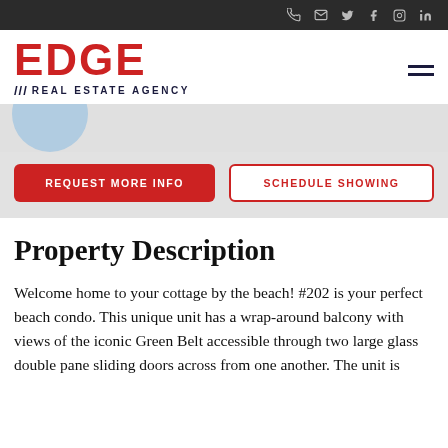EDGE Real Estate Agency — top navigation bar with social icons
[Figure (logo): EDGE Real Estate Agency logo with red EDGE text and dark navy tagline with chevrons]
[Figure (photo): Partial circle image visible at the bottom of the image area]
REQUEST MORE INFO
SCHEDULE SHOWING
Property Description
Welcome home to your cottage by the beach! #202 is your perfect beach condo. This unique unit has a wrap-around balcony with views of the iconic Green Belt accessible through two large glass double pane sliding doors across from one another. The unit is